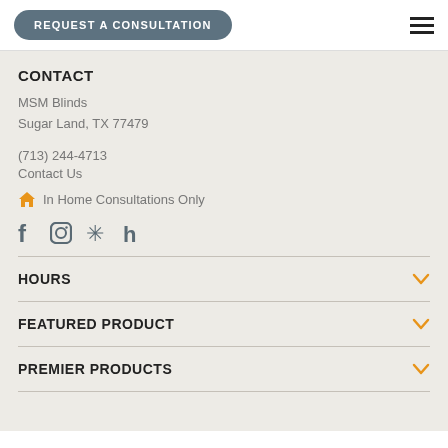REQUEST A CONSULTATION
CONTACT
MSM Blinds
Sugar Land, TX 77479
(713) 244-4713
Contact Us
In Home Consultations Only
[Figure (other): Social media icons: Facebook, Instagram, Yelp, Houzz]
HOURS
FEATURED PRODUCT
PREMIER PRODUCTS